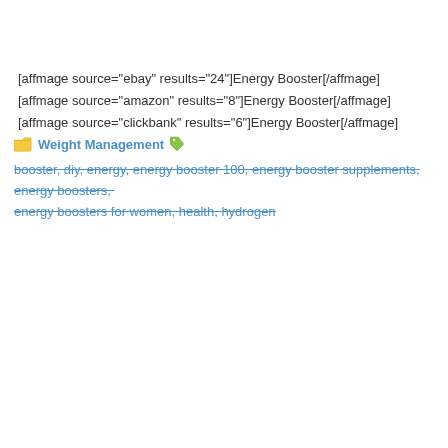[affmage source="ebay" results="24"]Energy Booster[/affmage]
[affmage source="amazon" results="8"]Energy Booster[/affmage]
[affmage source="clickbank" results="6"]Energy Booster[/affmage]
Weight Management
booster, diy, energy, energy booster 100, energy booster supplements, energy boosters, energy boosters for women, health, hydrogen